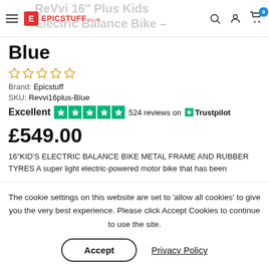Revvi 16" Plus Kids Electric Balance Bike - Blue | Epicstuff.co.uk
Blue
Brand: Epicstuff
SKU: Revvi16plus-Blue
Excellent ★★★★★ 524 reviews on Trustpilot
£549.00
16"KID'S ELECTRIC BALANCE BIKE METAL FRAME AND RUBBER TYRES A super light electric-powered motor bike that has been
The cookie settings on this website are set to 'allow all cookies' to give you the very best experience. Please click Accept Cookies to continue to use the site.
Accept
Privacy Policy